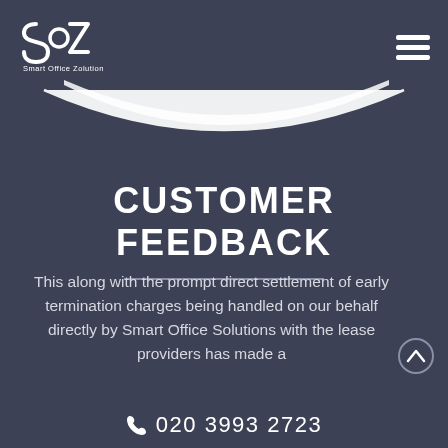[Figure (logo): Smart Office Zolution logo: stylized SZ letters with a circular element, white text 'Smart Office Zolution' below]
[Figure (illustration): White bowl/arc decorative shape on dark background]
CUSTOMER FEEDBACK
This along with the prompt direct settlement of early termination charges being handled on our behalf directly by Smart Office Solutions with the lease providers has made a
020 3993 2723